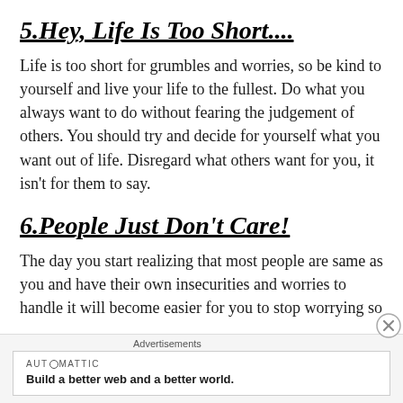5.Hey, Life Is Too Short....
Life is too short for grumbles and worries, so be kind to yourself and live your life to the fullest. Do what you always want to do without fearing the judgement of others. You should try and decide for yourself what you want out of life. Disregard what others want for you, it isn't for them to say.
6.People Just Don't Care!
The day you start realizing that most people are same as you and have their own insecurities and worries to handle it will become easier for you to stop worrying so
Advertisements
AUTOMATTIC
Build a better web and a better world.